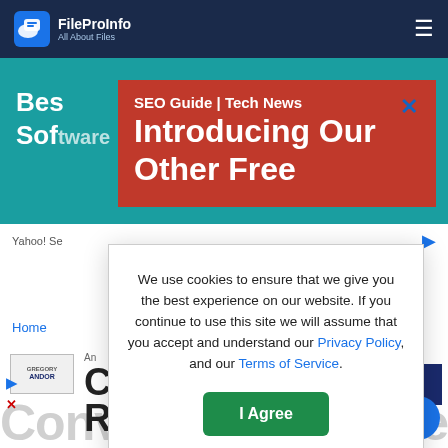FileProInfo — All About Files
[Figure (screenshot): Teal banner advertisement with text 'Best SEO Guide | Tech News Software' and right arrow, with Yahoo! Se bar below]
[Figure (screenshot): Red popup ad with title 'SEO Guide | Tech News' and large text 'Introducing Our Other Free', with blue X close button]
We use cookies to ensure that we give you the best experience on our website. If you continue to use this site we will assume that you accept and understand our Privacy Policy, and our Terms of Service.
I Agree
Home
[Figure (logo): Gregory Andor logo badge]
An C Re
Convert free